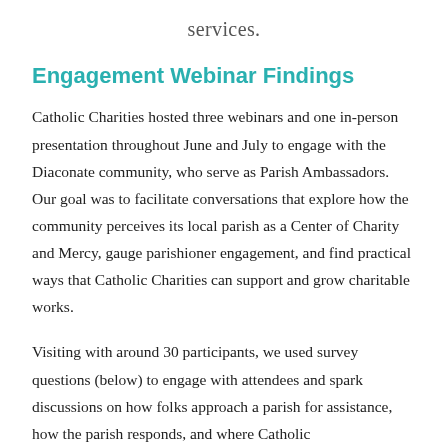services.
Engagement Webinar Findings
Catholic Charities hosted three webinars and one in-person presentation throughout June and July to engage with the Diaconate community, who serve as Parish Ambassadors. Our goal was to facilitate conversations that explore how the community perceives its local parish as a Center of Charity and Mercy, gauge parishioner engagement, and find practical ways that Catholic Charities can support and grow charitable works.
Visiting with around 30 participants, we used survey questions (below) to engage with attendees and spark discussions on how folks approach a parish for assistance, how the parish responds, and where Catholic